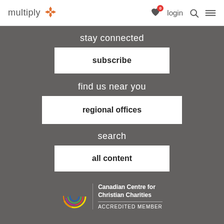multiply — login navigation header
stay connected
subscribe
find us near you
regional offices
search
all content
[Figure (logo): Canadian Centre for Christian Charities logo with colorful circular rings, text: Canadian Centre for Christian Charities ACCREDITED MEMBER]